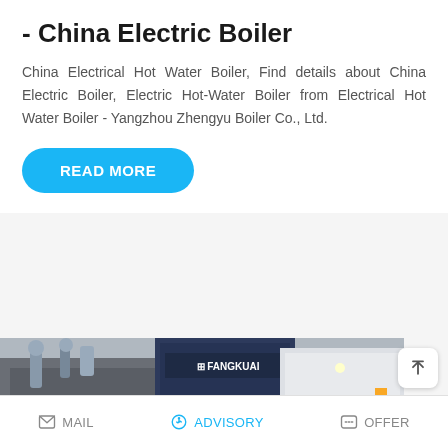- China Electric Boiler
China Electrical Hot Water Boiler, Find details about China Electric Boiler, Electric Hot-Water Boiler from Electrical Hot Water Boiler - Yangzhou Zhengyu Boiler Co., Ltd.
[Figure (other): Blue READ MORE button]
[Figure (photo): Industrial electric boilers including FANGKUAI branded units in a manufacturing or installation setting, with a WhatsApp Save Stickers overlay in the foreground]
MAIL   ADVISORY   OFFER